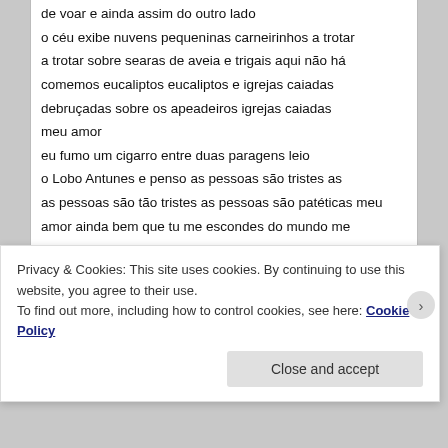de voar e ainda assim do outro lado
o céu exibe nuvens pequeninas carneirinhos a trotar
a trotar sobre searas de aveia e trigais aqui não há
comemos eucaliptos eucaliptos e igrejas caiadas
debruçadas sobre os apeadeiros igrejas caiadas
meu amor
eu fumo um cigarro entre duas paragens leio
o Lobo Antunes e penso as pessoas são tristes as
as pessoas são tão tristes as pessoas são patéticas meu amor ainda bem que tu me escondes do mundo me escondes
dos sorrisos condescendentes do mundo da comiseração do mundo
à noite no teu corpo meu amor eu
também sou um barco sentada sobre o teu ventre
Privacy & Cookies: This site uses cookies. By continuing to use this website, you agree to their use.
To find out more, including how to control cookies, see here: Cookie Policy